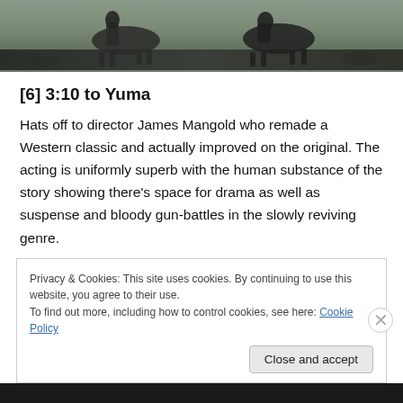[Figure (photo): Partial image of riders on horseback, cropped — dark tones showing horses and riders from a Western film]
[6] 3:10 to Yuma
Hats off to director James Mangold who remade a Western classic and actually improved on the original. The acting is uniformly superb with the human substance of the story showing there's space for drama as well as suspense and bloody gun-battles in the slowly reviving genre.
Privacy & Cookies: This site uses cookies. By continuing to use this website, you agree to their use.
To find out more, including how to control cookies, see here: Cookie Policy
Close and accept